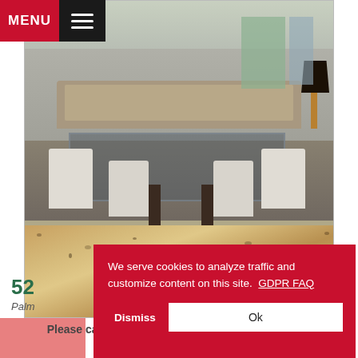MENU
[Figure (photo): Interior photo of a furnished dining room with a glass-top table, white upholstered chairs, and a granite kitchen counter in the foreground. Living room seating visible in the background.]
Please call or email for availability. Search results
[Figure (screenshot): GDPR cookie consent banner overlay in red. Text reads: 'We serve cookies to analyze traffic and customize content on this site. GDPR FAQ' with 'Dismiss' and 'Ok' buttons.]
52
Palm
$2,500